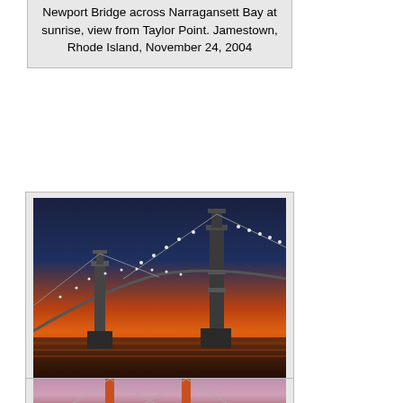Newport Bridge across Narragansett Bay at sunrise, view from Taylor Point. Jamestown, Rhode Island, November 24, 2004
[Figure (photo): Newport Bridge at morning dusk with orange sky, suspension bridge with lights, view from Taylor Point, Jamestown, Rhode Island, December 21, 2004]
.../2004/428/07.htm   similar
Newport Bridge at morning dusk, view from Taylor Point. Jamestown, Rhode Island, December 21, 2004
[Figure (photo): Partial view of a large suspension bridge tower against a pink/purple sky, bottom of page]